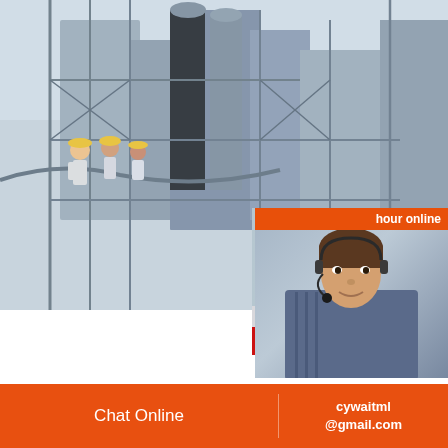[Figure (photo): Industrial facility with steel framework and scaffolding in background; workers in yellow hard hats visible]
[Figure (screenshot): Live chat popup overlay with red LIVE CHAT heading, 'Click for a Free Consultation' subtitle, Chat now (red) and Chat later (dark) buttons, and worker photos in background]
[Figure (photo): Customer service agent with headset on right side panel with orange 'hour online' bar, 'Click to chat' button, and 'Enquiry' section]
China Roller Stone Crus… China Roller Stone
A wide variety of roller stone crusher optio… to you, such as new. You can also choose fr…
Chat Online | cywaitml @gmail.com